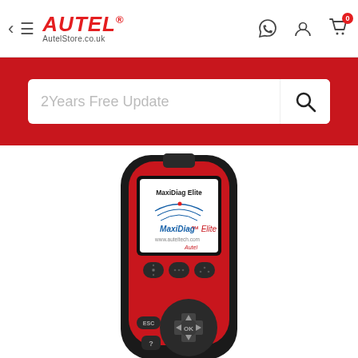Autel AutelStore.co.uk
2Years Free Update
[Figure (photo): Autel MaxiDiag Elite handheld automotive diagnostic scanner device, red and black, showing its screen with MaxiDiag Elite logo, and navigation buttons below the screen.]